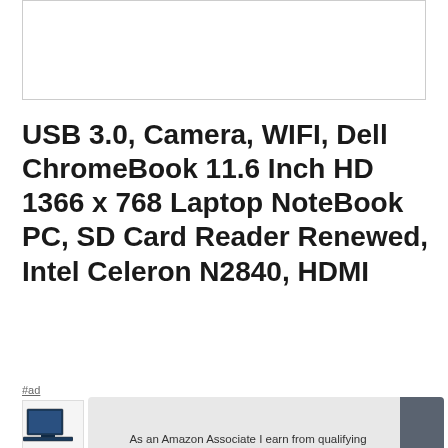[Figure (photo): Product image placeholder - white rectangle with border]
USB 3.0, Camera, WIFI, Dell ChromeBook 11.6 Inch HD 1366 x 768 Laptop NoteBook PC, SD Card Reader Renewed, Intel Celeron N2840, HDMI
#ad
[Figure (photo): Partial laptop product image visible at bottom left]
As an Amazon Associate I earn from qualifying purchases. This website uses the only necessary cookies to ensure you get the best experience on our website. More information